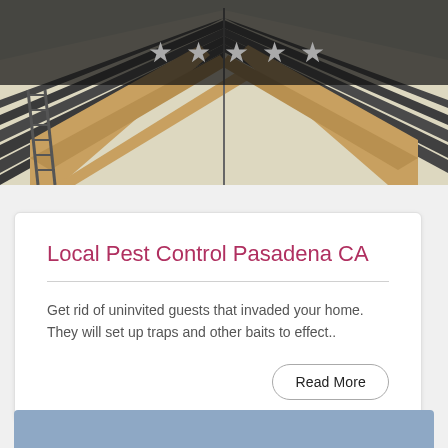[Figure (photo): Photo of a house roofline/eave construction from below, showing wood framing and shingles. A dark semi-transparent banner overlays the top portion with 5 grey star icons centered. The image shows roof construction details with ladders visible.]
Local Pest Control Pasadena CA
Get rid of uninvited guests that invaded your home. They will set up traps and other baits to effect..
[Figure (other): Bottom blue-grey partial image/banner area, partially visible at bottom of page.]